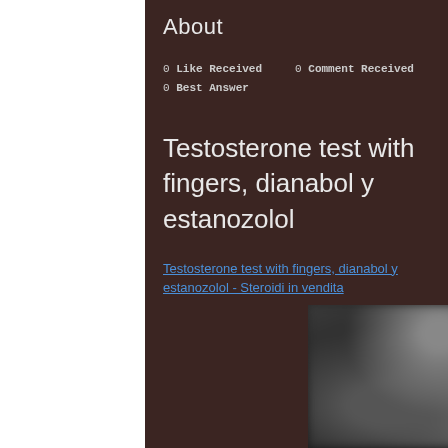About
0 Like Received   0 Comment Received
0 Best Answer
Testosterone test with fingers, dianabol y estanozolol
Testosterone test with fingers, dianabol y estanozolol - Steroidi in vendita
[Figure (photo): Blurred dark photograph, content obscured]